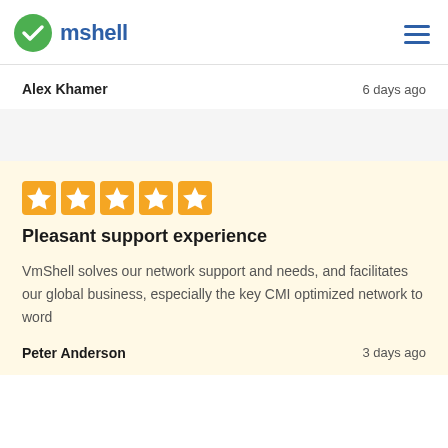mshell
Alex Khamer   6 days ago
[Figure (other): Five gold star rating boxes]
Pleasant support experience
VmShell solves our network support and needs, and facilitates our global business, especially the key CMI optimized network to word
Peter Anderson   3 days ago